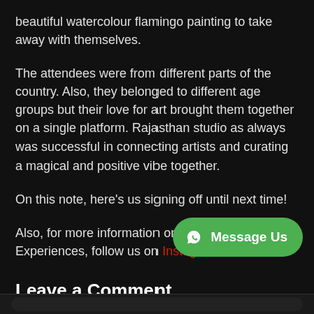beautiful watercolour flamingo painting to take away with themselves.
The attendees were from different parts of the country. Also, they belonged to different age groups but their love for art brought them together on a single platform. Rajasthan studio as always was successful in connecting artists and curating a magical and positive vibe together.
On this note, here's us signing off until next time!
Also, for more information on upcoming Circle Experiences, follow us on Instagram
Leave a Comment
[Figure (other): WhatsApp Message Us button, green rounded rectangle with WhatsApp icon]